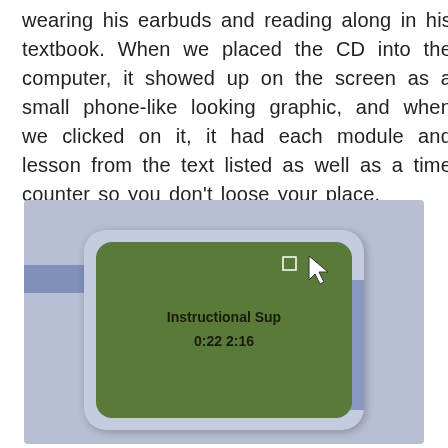wearing his earbuds and reading along in his textbook. When we placed the CD into the computer, it showed up on the screen as a small phone-like looking graphic, and when we clicked on it, it had each module and lesson from the text listed as well as a time counter so you don't loose your place.
[Figure (screenshot): A screenshot of a computer screen showing a phone-like graphic device with a green screen displaying 'Instructional Sup' and '0:22 2:16', with a mouse cursor pointing at it.]